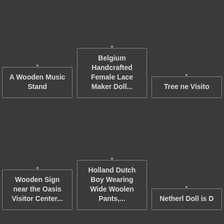A Wooden Music Stand
Belgium Handcrafted Female Lace Maker Doll...
Tree ne Visito
Wooden Sign near the Oasis Visitor Center...
Holland Dutch Boy Wearing Wide Woolen Pants,...
Netherl Doll is D